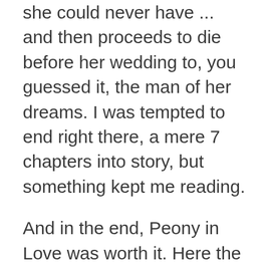she could never have ... and then proceeds to die before her wedding to, you guessed it, the man of her dreams. I was tempted to end right there, a mere 7 chapters into story, but something kept me reading.
And in the end, Peony in Love was worth it. Here the reader gets a glimpse into to fascinating spiritual world of Chinese culture, the stages of death, the levels of the after-life. I have another layer of thinking about what might come next, something that has always drawn me to wondering. The image of Peony and her grandmother hovering, trailing